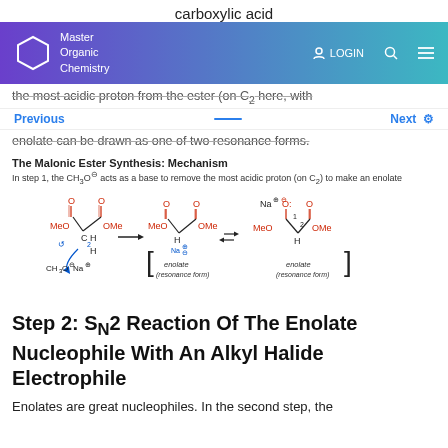carboxylic acid
Master Organic Chemistry | LOGIN
the most acidic proton from the ester (on C2 here, with
Previous — Next
enolate can be drawn as one of two resonance forms.
The Malonic Ester Synthesis: Mechanism
In step 1, the CH3O⊖ acts as a base to remove the most acidic proton (on C2) to make an enolate
[Figure (chemistry-diagram): Reaction mechanism showing malonic ester reacting with CH3O⊖/Na⊕ to form two enolate resonance forms with Na⊕ and Na⊕/⊖O groups.]
Step 2: SN2 Reaction Of The Enolate Nucleophile With An Alkyl Halide Electrophile
Enolates are great nucleophiles. In the second step, the